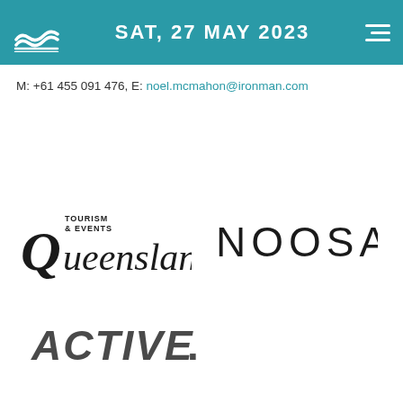SAT, 27 MAY 2023
M: +61 455 091 476, E: noel.mcmahon@ironman.com
[Figure (logo): Tourism & Events Queensland logo]
[Figure (logo): NOOSA logo]
[Figure (logo): ACTIVE logo]